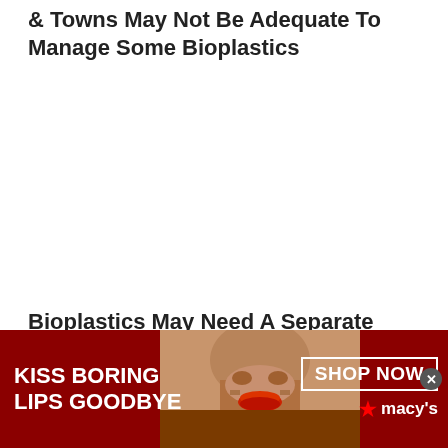& Towns May Not Be Adequate To Manage Some Bioplastics
Bioplastics May Need A Separate Recycling Stream To Traditional Plastics
[Figure (photo): Advertisement banner for Macy's cosmetics. Red background with a woman's face wearing bold red lipstick in the center. White text on left reads 'KISS BORING LIPS GOODBYE'. Right side has a white-bordered button 'SHOP NOW' and Macy's star logo.]